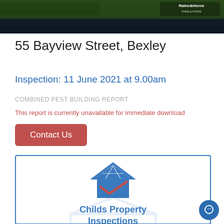[Figure (photo): Dark header image showing a property at night with Raine & Horne logo visible in the top right corner]
55 Bayview Street, Bexley
Inspection: 11 June 2021 at 9.00am
COMBINED PEST BUILDING REPORT
This report is currently unavailable for immediate download
Contact Us
[Figure (logo): Childs Property Inspections logo featuring a house icon with a blue outline and red check mark, with company name below in blue text]